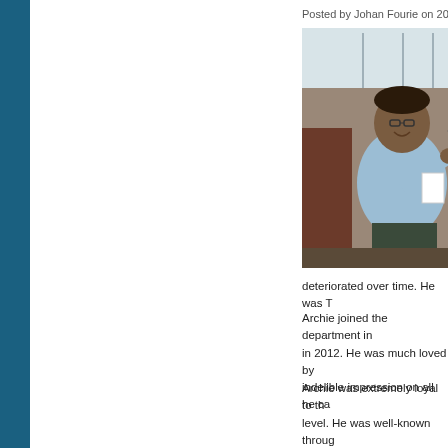Posted by Johan Fourie on 2021-01
[Figure (photo): A man sitting and smiling, holding keys, wearing a light blue shirt and glasses, in an indoor setting.]
deteriorated over time. He was T
Archie joined the department in in 2012. He was much loved by indelible impression on all he ca
Archie was extremely loyal to th level. He was well-known throug personal relationships. These qu any problem posed to him by Ec